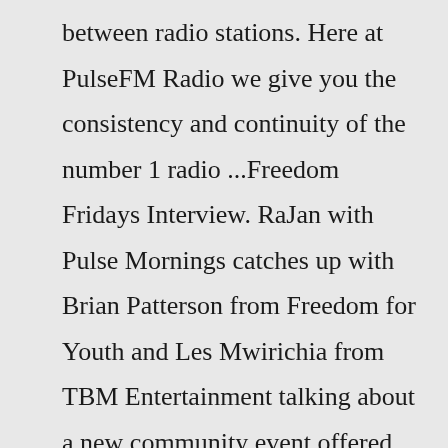between radio stations. Here at PulseFM Radio we give you the consistency and continuity of the number 1 radio ...Freedom Fridays Interview. RaJan with Pulse Mornings catches up with Brian Patterson from Freedom for Youth and Les Mwirichia from TBM Entertainment talking about a new community event offered to central Iowa for a limited time called Freedom Fridays. Check out the full interview